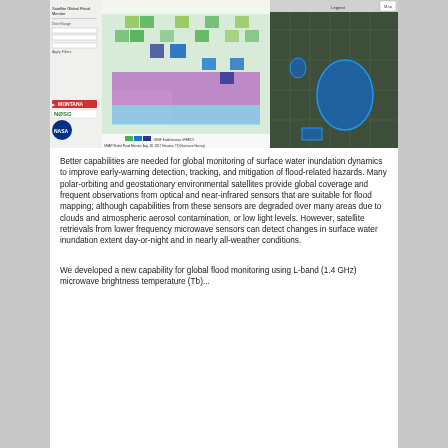[Figure (screenshot): SMAP Global Flood Monitor screenshot showing flood inundation map over Houston, TX (Hurricane Harvey, Aug. 30, 2017). Left panel: color-coded grid map with purple/green/blue patches over the Houston area. Right panel: satellite imagery with blue flood outlines. Logos for University of Montana, NOSG, and NASA visible. Caption: SMAP Global Flood Monitor: Aug. 30, 2017 Houston, TX (Hurricane Harvey).]
Better capabilities are needed for global monitoring of surface water inundation dynamics to improve early-warning detection, tracking, and mitigation of flood-related hazards. Many polar-orbiting and geostationary environmental satellites provide global coverage and frequent observations from optical and near-infrared sensors that are suitable for flood mapping; although capabilities from these sensors are degraded over many areas due to clouds and atmospheric aerosol contamination, or low light levels. However, satellite retrievals from lower frequency microwave sensors can detect changes in surface water inundation extent day-or-night and in nearly all-weather conditions.
We developed a new capability for global flood monitoring using L-band (1.4 GHz) microwave brightness temperature (Tb)...